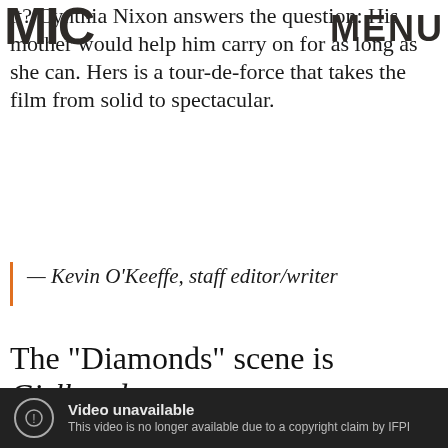MIC | MENU
it? Cynthia Nixon answers the question: His mother would help him carry on for as long as she can. Hers is a tour-de-force that takes the film from solid to spectacular.
— Kevin O'Keeffe, staff editor/writer
The "Diamonds" scene is Girlhood
[Figure (screenshot): Embedded video player showing 'Video unavailable' message: 'This video is no longer available due to a copyright claim by IFPI']